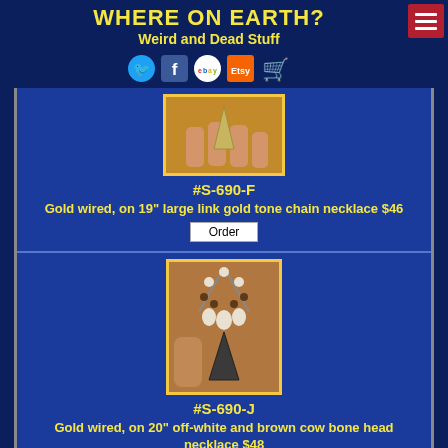WHERE ON EARTH? Weird and Dead Stuff
[Figure (photo): Hand holding a fossil shark tooth, small, yellowish-brown color]
#S-690-F
Gold wired, on 19" large link gold tone chain necklace  $46
Order
[Figure (photo): Shark tooth necklace on off-white and brown cow bone bead necklace, tooth is dark grey/black]
#S-690-J
Gold wired, on 20" off-white and brown cow bone head necklace  $48